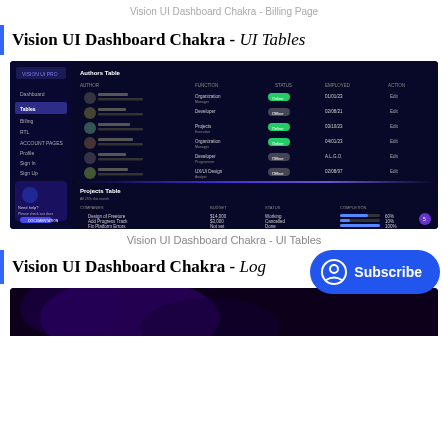Vision UI Dashboard Chakra - Billing Page
Vision UI Dashboard Chakra - UI Tables
[Figure (screenshot): Screenshot of Vision UI Dashboard Chakra showing Authors Table and Projects Table on a dark blue themed dashboard UI]
Vision UI Dashboard Chakra - UI Tables
Vision UI Dashboard Chakra - Log